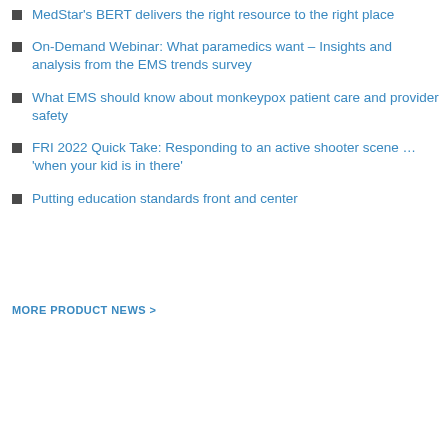MedStar's BERT delivers the right resource to the right place
On-Demand Webinar: What paramedics want – Insights and analysis from the EMS trends survey
What EMS should know about monkeypox patient care and provider safety
FRI 2022 Quick Take: Responding to an active shooter scene … 'when your kid is in there'
Putting education standards front and center
MORE PRODUCT NEWS >